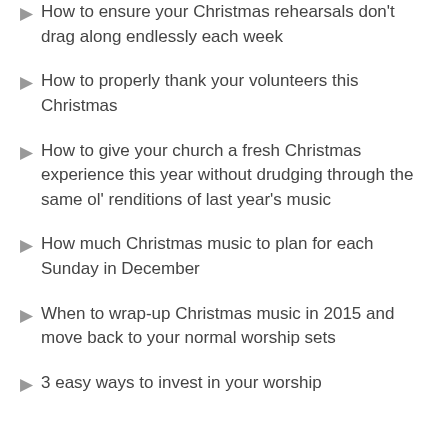How to ensure your Christmas rehearsals don't drag along endlessly each week
How to properly thank your volunteers this Christmas
How to give your church a fresh Christmas experience this year without drudging through the same ol' renditions of last year's music
How much Christmas music to plan for each Sunday in December
When to wrap-up Christmas music in 2015 and move back to your normal worship sets
3 easy ways to invest in your worship